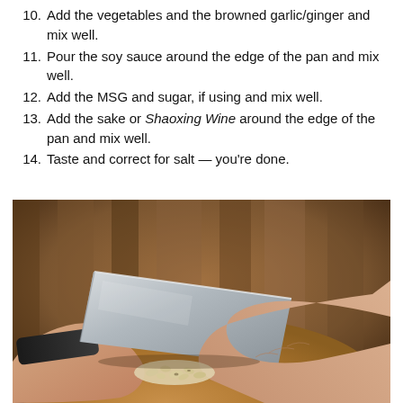10. Add the vegetables and the browned garlic/ginger and mix well.
11. Pour the soy sauce around the edge of the pan and mix well.
12. Add the MSG and sugar, if using and mix well.
13. Add the sake or Shaoxing Wine around the edge of the pan and mix well.
14. Taste and correct for salt — you're done.
[Figure (photo): Hands using a cleaver to mince garlic on a round wooden cutting board, with a warm blurred background.]